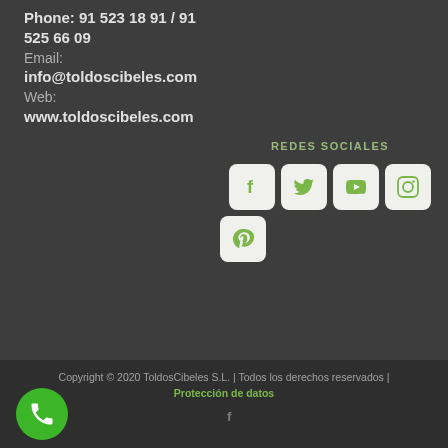Phone: 91 523 18 91 / 91 525 66 09
Email:
info@toldoscibeles.com
Web:
www.toldoscibeles.com
REDES SOCIALES
[Figure (infographic): Social media icons: Facebook, Twitter, YouTube, Instagram, Pinterest in rounded square boxes]
Copyright © 2020 ToldosCibeles S.L. | Todos los derechos reservados | Protección de datos